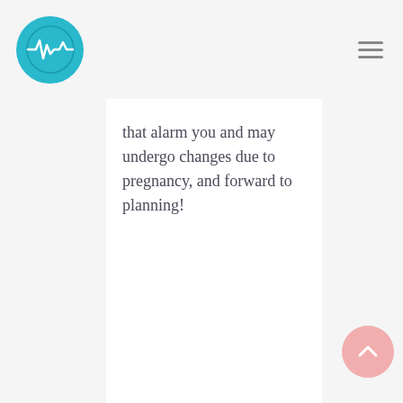[Logo: teal circle with heartbeat icon] [Hamburger menu icon]
that alarm you and may undergo changes due to pregnancy, and forward to planning!